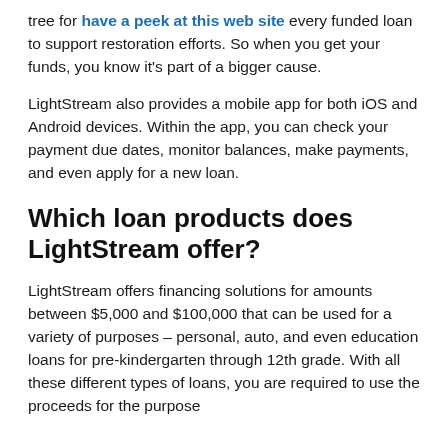tree for have a peek at this web site every funded loan to support restoration efforts. So when you get your funds, you know it's part of a bigger cause.
LightStream also provides a mobile app for both iOS and Android devices. Within the app, you can check your payment due dates, monitor balances, make payments, and even apply for a new loan.
Which loan products does LightStream offer?
LightStream offers financing solutions for amounts between $5,000 and $100,000 that can be used for a variety of purposes – personal, auto, and even education loans for pre-kindergarten through 12th grade. With all these different types of loans, you are required to use the proceeds for the purpose